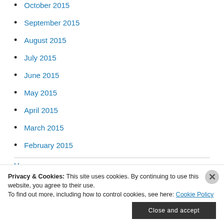October 2015
September 2015
August 2015
July 2015
June 2015
May 2015
April 2015
March 2015
February 2015
Privacy & Cookies: This site uses cookies. By continuing to use this website, you agree to their use. To find out more, including how to control cookies, see here: Cookie Policy
Close and accept